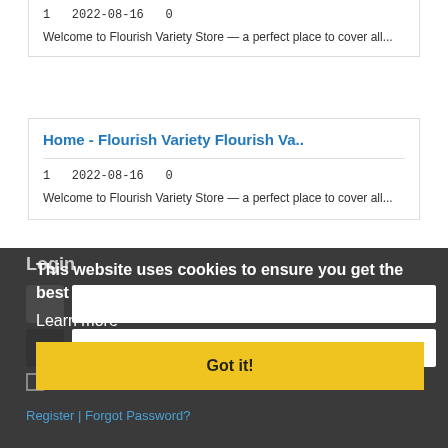1   2022-08-16   0
Welcome to Flourish Variety Store — a perfect place to cover all...
Home - Flourish Variety Flourish Va..
1   2022-08-16   0
Welcome to Flourish Variety Store — a perfect place to cover all...
Login
This website uses cookies to ensure you get the best experience on our website.
Learn more
Got it!
Password
Remember Me
Register | Forgot Password?